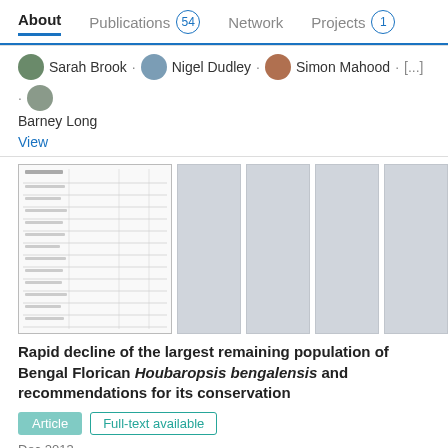About  Publications 54  Network  Projects 1
Sarah Brook · Nigel Dudley · Simon Mahood · [...] · Barney Long
View
[Figure (screenshot): Five document thumbnail images in a row, the first showing a table document, the others are light gray placeholders]
Rapid decline of the largest remaining population of Bengal Florican Houbaropsis bengalensis and recommendations for its conservation
Article   Full-text available
Dec 2013
Packman CE · Showler DA · Nigel J Collar · [...] · Paul M Dolman
A census of the Critically Endangered Bengal Florican Houbaropsis bengalensis was conducted between March and